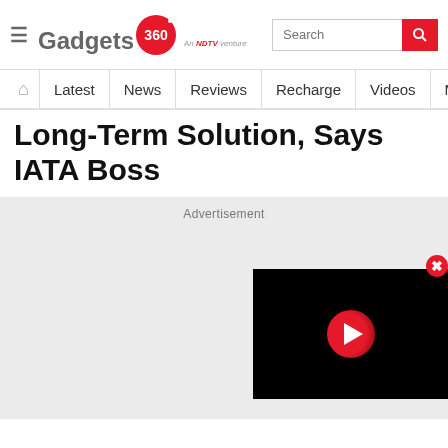Gadgets 360 — An NDTV venture
Long-Term Solution, Says IATA Boss
Advertisement
[Figure (screenshot): Video player widget with red play button on black background, with red close button]